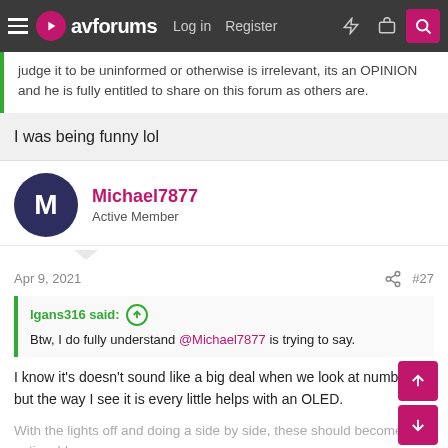avforums — Log in | Register
judge it to be uninformed or otherwise is irrelevant, its an OPINION and he is fully entitled to share on this forum as others are.
I was being funny lol
Michael7877
Active Member
Apr 9, 2021  #27
lgans316 said:
Btw, I do fully understand @Michael7877 is trying to say.
I know it's doesn't sound like a big deal when we look at numbers but the way I see it is every little helps with an OLED.
With the lights off and doing a side by side, these should become noticeable.